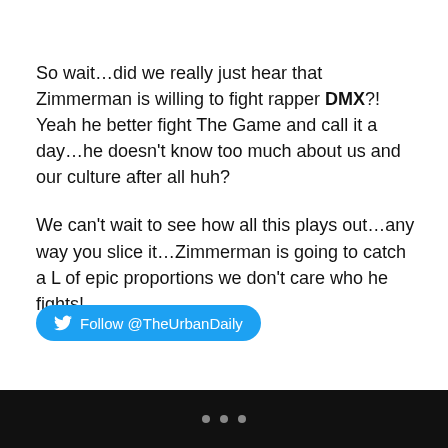So wait…did we really just hear that Zimmerman is willing to fight rapper DMX?! Yeah he better fight The Game and call it a day…he doesn't know too much about us and our culture after all huh?
We can't wait to see how all this plays out…any way you slice it…Zimmerman is going to catch a L of epic proportions we don't care who he fights!
[Figure (other): Twitter follow button: Follow @TheUrbanDaily]
• • •